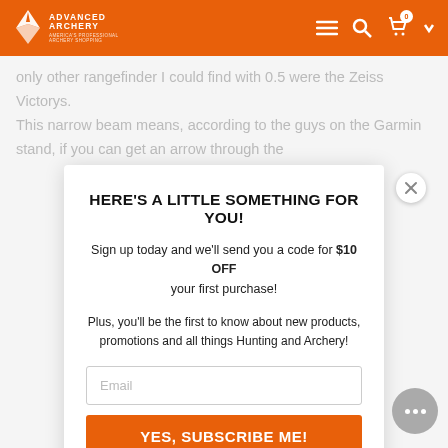Advanced Archery
only other rangefinder I could find with 0.5 were the Zeiss Victorys. This narrow beam means, according to the guys on the Garmin stand, if you can get an arrow through the
HERE'S A LITTLE SOMETHING FOR YOU!
Sign up today and we'll send you a code for $10 OFF your first purchase!
Plus, you'll be the first to know about new products, promotions and all things Hunting and Archery!
Email
YES, SUBSCRIBE ME!